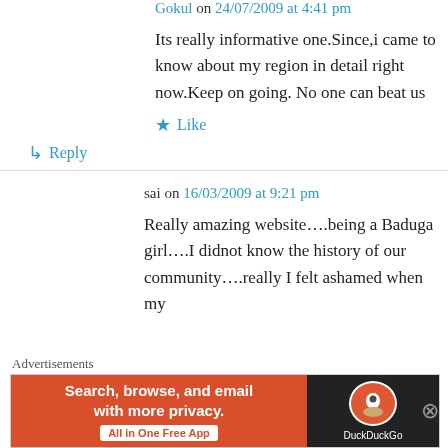Gokul on 24/07/2009 at 4:41 pm
Its really informative one.Since,i came to know about my region in detail right now.Keep on going. No one can beat us
★ Like
↳ Reply
sai on 16/03/2009 at 9:21 pm
Really amazing website….being a Baduga girl….I didnot know the history of our community….really I felt ashamed when my friend asked me about Baduga community...
Advertisements
[Figure (screenshot): DuckDuckGo advertisement banner: 'Search, browse, and email with more privacy. All in One Free App' on orange background with DuckDuckGo logo on dark background.]